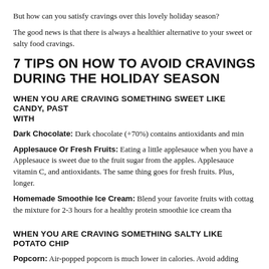But how can you satisfy cravings over this lovely holiday season?
The good news is that there is always a healthier alternative to your sweet or salty food cravings.
7 TIPS ON HOW TO AVOID CRAVINGS DURING THE HOLIDAY SEASON
WHEN YOU ARE CRAVING SOMETHING SWEET LIKE CANDY, PAST WITH
Dark Chocolate: Dark chocolate (+70%) contains antioxidants and min
Applesauce Or Fresh Fruits: Eating a little applesauce when you have a Applesauce is sweet due to the fruit sugar from the apples. Applesauce vitamin C, and antioxidants. The same thing goes for fresh fruits. Plus, longer.
Homemade Smoothie Ice Cream: Blend your favorite fruits with cotta the mixture for 2-3 hours for a healthy protein smoothie ice cream tha
WHEN YOU ARE CRAVING SOMETHING SALTY LIKE POTATO CHIP
Popcorn: Air-popped popcorn is much lower in calories. Avoid adding